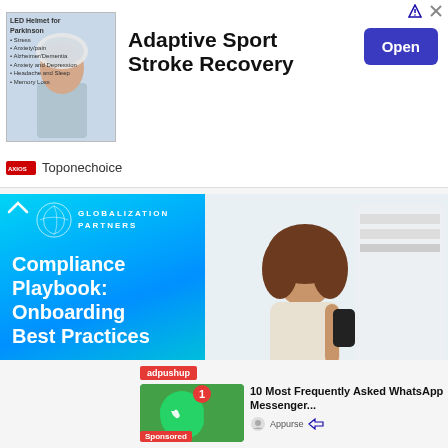[Figure (advertisement): Top banner ad for 'Adaptive Sport Stroke Recovery' with a man wearing an LED helmet, Open button, and Toponechoice branding]
[Figure (advertisement): Globalization Partners banner ad showing 'Compliance Playbook: Onboarding Best Practices' with a woman on phone in office background]
Onboarding Best Practices
Ad  Globalization Partners
[Figure (advertisement): adpushup sponsored ad for '10 Most Frequently Asked WhatsApp Messenger...' by Appurse with green messenger icon image]